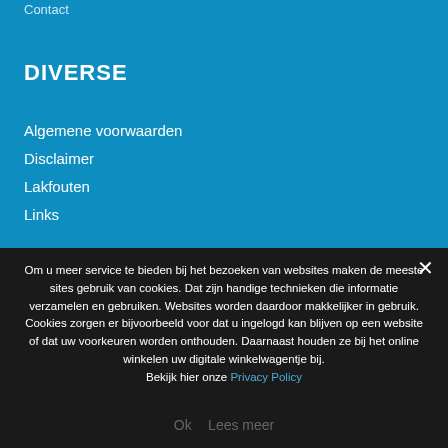DIVERSE
Algemene voorwaarden
Disclaimer
Lakfouten
Links
Om u meer service te bieden bij het bezoeken van websites maken de meeste sites gebruik van cookies. Dat zijn handige technieken die informatie verzamelen en gebruiken. Websites worden daardoor makkelijker in gebruik. Cookies zorgen er bijvoorbeeld voor dat u ingelogd kan blijven op een website of dat uw voorkeuren worden onthouden. Daarnaast houden ze bij het online winkelen uw digitale winkelwagentje bij. Bekijk hier onze Privacy Policy
Ok   Lees meer